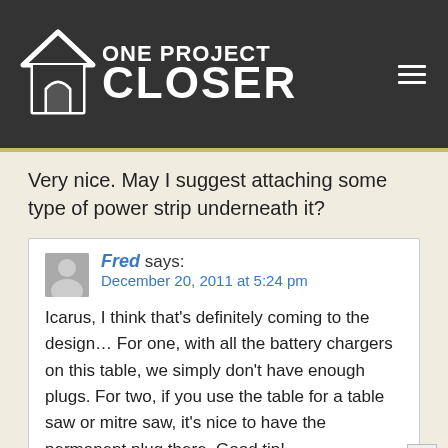[Figure (logo): One Project Closer website logo with house icon on dark grey header background, with hamburger menu icon on the right]
Very nice. May I suggest attaching some type of power strip underneath it?
Fred says:
December 20, 2011 at 5:24 pm

Icarus, I think that’s definitely coming to the design… For one, with all the battery chargers on this table, we simply don’t have enough plugs. For two, if you use the table for a table saw or mitre saw, it’s nice to have the permanent plug there. Good tip!
[Figure (screenshot): CarMax advertisement banner: Get a Car Within Your Budget]